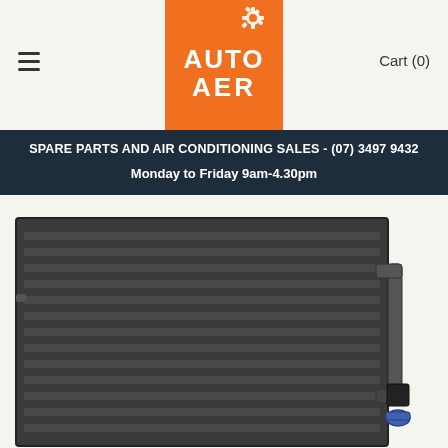[Figure (logo): AUTO AER logo — white bold text on orange background with gear icon]
Cart (0)
SPARE PARTS AND AIR CONDITIONING SALES - (07) 3497 9432
Monday to Friday 9am-4.30pm
[Figure (photo): AC condenser unit (dark grey/black rectangular unit with horizontal fins and pipe connections with blue cap fitting on the right side)]